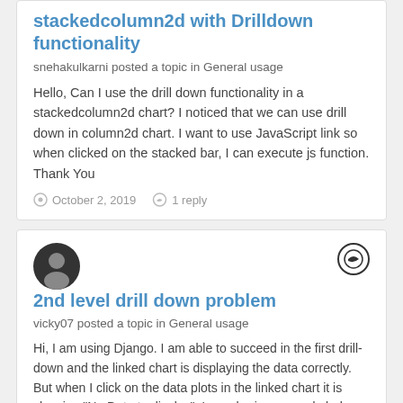stackedcolumn2d with Drilldown functionality
snehakulkarni posted a topic in General usage
Hello, Can I use the drill down functionality in a stackedcolumn2d chart? I noticed that we can use drill down in column2d chart. I want to use JavaScript link so when clicked on the stacked bar, I can execute js function. Thank You
October 2, 2019   1 reply
2nd level drill down problem
vicky07 posted a topic in General usage
Hi, I am using Django. I am able to succeed in the first drill-down and the linked chart is displaying the data correctly. But when I click on the data plots in the linked chart it is showing "No Data to display". I am sharing my code below. views.py def chart1(request): dataSource = {} dataSource['...